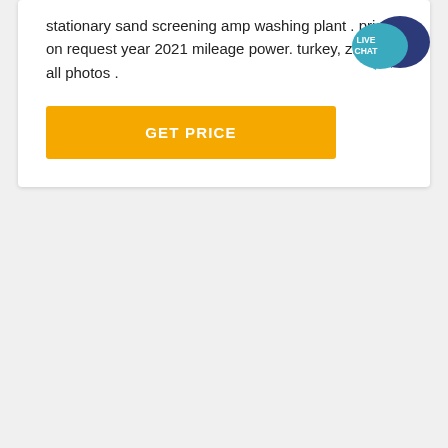stationary sand screening amp washing plant . price on request year 2021 mileage power. turkey, zmr. see all photos .
[Figure (other): Live Chat speech bubble icon with teal/blue coloring and white text reading LIVE CHAT]